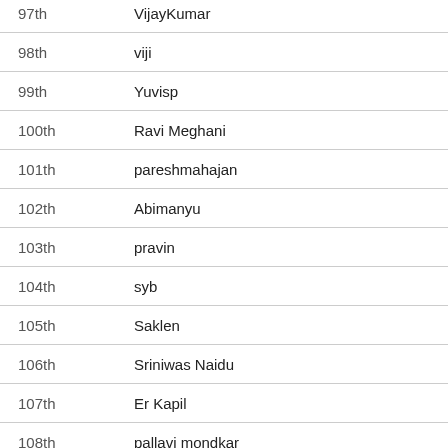| Rank | Name | Prize |
| --- | --- | --- |
| 97th | VijayKumar | ₹550 |
| 98th | viji | ₹550 |
| 99th | Yuvisp | ₹550 |
| 100th | Ravi Meghani | ₹550 |
| 101th | pareshmahajan | ₹550 |
| 102th | Abimanyu | ₹550 |
| 103th | pravin | ₹550 |
| 104th | syb | ₹550 |
| 105th | Saklen | ₹550 |
| 106th | Sriniwas Naidu | ₹550 |
| 107th | Er Kapil | ₹550 |
| 108th | pallavi mondkar | ₹550 |